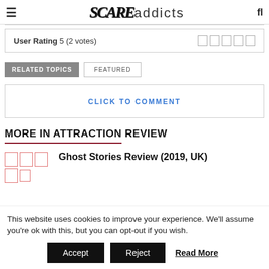SCARAddicts
User Rating 5 (2 votes)
RELATED TOPICS | FEATURED
CLICK TO COMMENT
MORE IN ATTRACTION REVIEW
Ghost Stories Review (2019, UK)
This website uses cookies to improve your experience. We'll assume you're ok with this, but you can opt-out if you wish. Accept Reject Read More